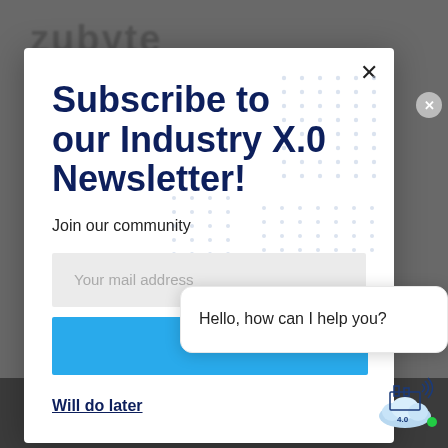Subscribe to our Industry X.0 Newsletter!
Join our community
Your mail address
Sub
Will do later
Hello, how can I help you?